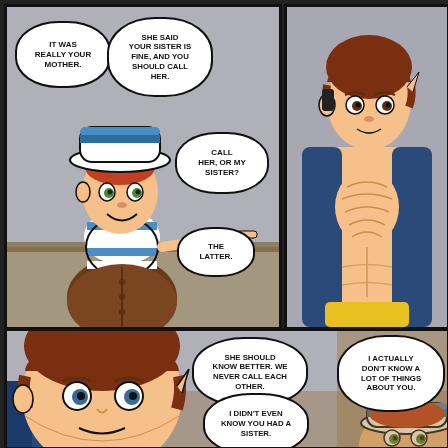[Figure (illustration): Webcomic page with two rows of panels. Top row: left panel shows a character with a white/blue hat, striped blue-white scarf, and brown coat speaking to another character. Right panel shows a shirtless young man with brown hair in a blue jacket. Bottom row: wide panel showing close-up of the brown-haired man on left, speech bubbles in center, and the hat character peeking in from bottom right. Speech bubbles read: 'IT WAS REALLY YOUR MOTHER.' / 'SHE SAID YOUR SISTER IS FINE, AND YOU SHOULD CALL HER.' / 'CALL HER, OR MY SISTER?' / 'THE LATTER.' / 'SHE SHOULD KNOW BETTER. WE NEVER CALL EACH OTHER.' / 'I DIDN'T EVEN KNOW YOU HAD A SISTER.' / 'I ACTUALLY DON'T KNOW A LOT OF THINGS ABOUT YOU.']